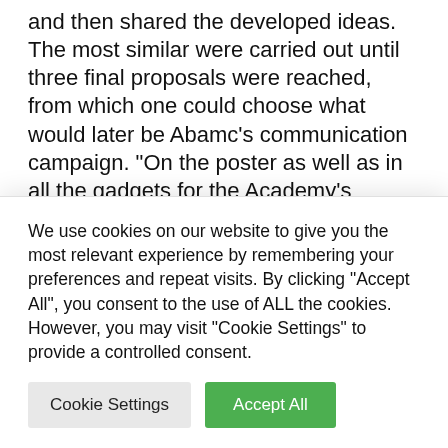and then shared the developed ideas. The most similar were carried out until three final proposals were reached, from which one could choose what would later be Abamc’s communication campaign. “On the poster as well as in all the gadgets for the Academy’s registration campaign – the director Rossella Ghezzi concluded – the the logo for the 50th anniversary of the founding of Abamc, which dates back to 1972: from
We use cookies on our website to give you the most relevant experience by remembering your preferences and repeat visits. By clicking “Accept All”, you consent to the use of ALL the cookies. However, you may visit "Cookie Settings" to provide a controlled consent.